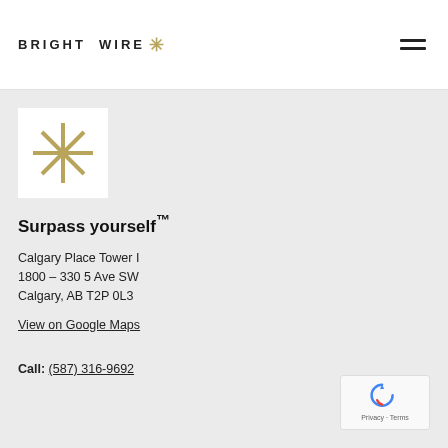BRIGHT WIRE ✳
[Figure (logo): Bright Wire gold asterisk/starburst logo on white square background]
Surpass yourself™
Calgary Place Tower I
1800 – 330 5 Ave SW
Calgary, AB T2P 0L3
View on Google Maps
Call: (587) 316-9692